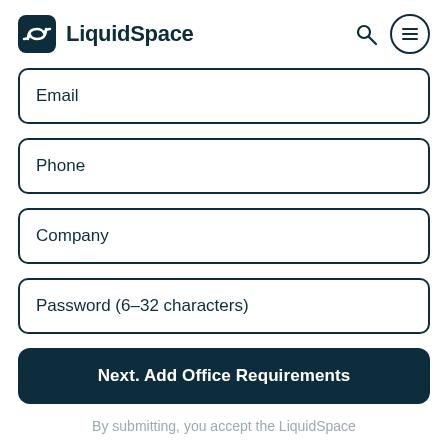LiquidSpace
Email
Phone
Company
Password (6-32 characters)
Next. Add Office Requirements
By submitting, you accept the LiquidSpace